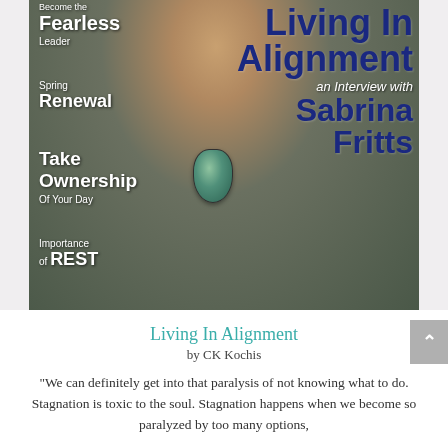[Figure (photo): Magazine cover showing a woman with a teal stone pendant necklace wearing a dark textured top. Left side text includes: 'Become the Fearless Leader', 'Spring Renewal', 'Take Ownership Of Your Day', 'Importance of REST'. Right side text: 'Living In Alignment an Interview with Sabrina Fritts'.]
Living In Alignment
by CK Kochis
"We can definitely get into that paralysis of not knowing what to do. Stagnation is toxic to the soul. Stagnation happens when we become so paralyzed by too many options,